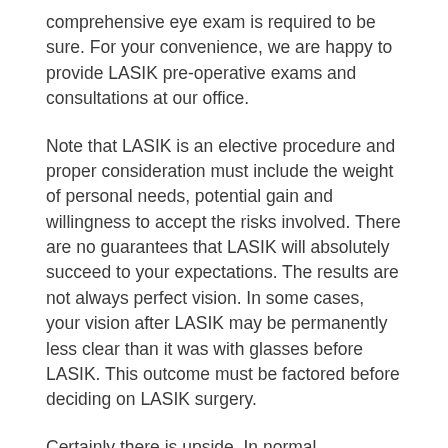comprehensive eye exam is required to be sure. For your convenience, we are happy to provide LASIK pre-operative exams and consultations at our office.
Note that LASIK is an elective procedure and proper consideration must include the weight of personal needs, potential gain and willingness to accept the risks involved. There are no guarantees that LASIK will absolutely succeed to your expectations. The results are not always perfect vision. In some cases, your vision after LASIK may be permanently less clear than it was with glasses before LASIK. This outcome must be factored before deciding on LASIK surgery.
Certainly there is upside. In normal circumstances and conditions LASIK can reduce your dependence on glasses and almost always gives you the ability to function well without the need for glasses or contact lenses.